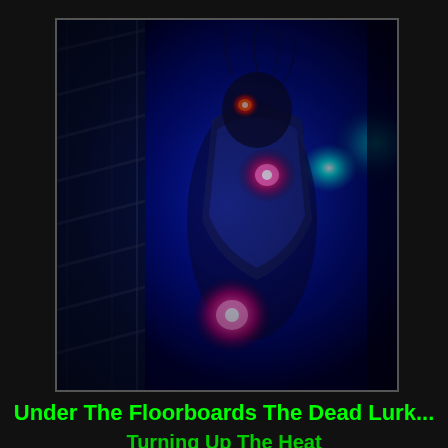[Figure (photo): Dark horror scene showing a creepy figure or puppet under floorboards illuminated by glowing blue, cyan, and red/pink lights. The scene is very dark with dramatic colored lighting creating an eerie atmosphere. Visible are staircase or floorboard planks on the left side, and a scary masked or zombie-like figure in the center-right bathed in blue and cyan light, with red glowing orbs visible.]
Under The Floorboards The Dead Lurk...
Turning Up The Heat